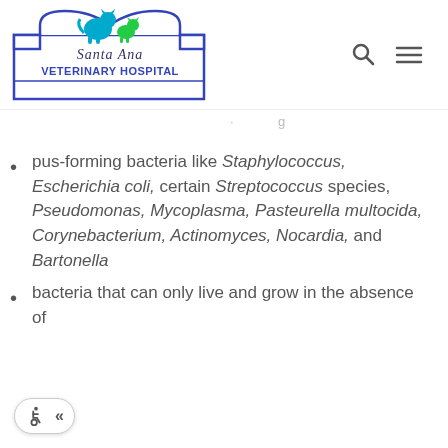Santa Ana Veterinary Hospital logo with navigation icons
pus-forming bacteria like Staphylococcus, Escherichia coli, certain Streptococcus species, Pseudomonas, Mycoplasma, Pasteurella multocida, Corynebacterium, Actinomyces, Nocardia, and Bartonella
bacteria that can only live and grow in the absence of